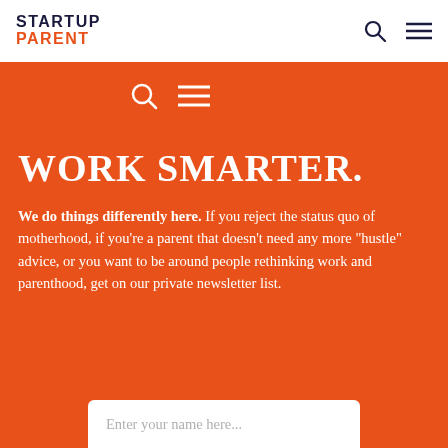STARTUP PARENT
[Figure (logo): Startup Parent logo with search and hamburger menu icons in the header]
[Figure (infographic): Search icon and hamburger menu icon on orange background]
WORK SMARTER.
We do things differently here. If you reject the status quo of motherhood, if you're a parent that doesn't need any more "hustle" advice, or you want to be around people rethinking work and parenthood, get on our private newsletter list.
Enter your name here...